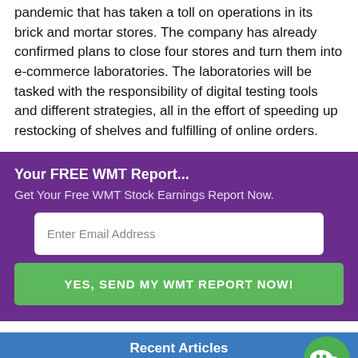pandemic that has taken a toll on operations in its brick and mortar stores. The company has already confirmed plans to close four stores and turn them into e-commerce laboratories. The laboratories will be tasked with the responsibility of digital testing tools and different strategies, all in the effort of speeding up restocking of shelves and fulfilling of online orders.
Your FREE WMT Report... Get Your Free WMT Stock Earnings Report Now. Enter Email Address YES, SEND MY WMT REPORT NOW!
Recent Articles
Pinduoduo Inc. (NASDAQ: PDD) Beats Q4 2021 Earnings Estimates But Revenue Comes Shor...